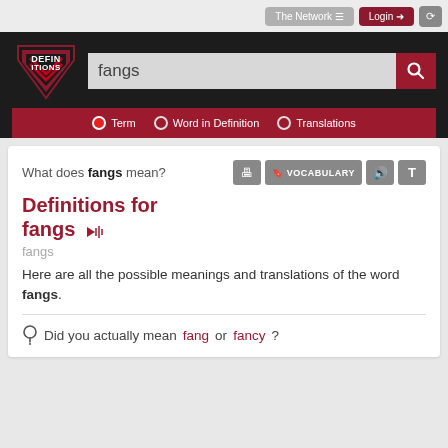[Figure (screenshot): Website header with Definitions logo, search bar with 'fangs' entered, and navigation tabs for Term, Word in Definition, Translations]
What does fangs mean?
Definitions for fangs
fangs
Here are all the possible meanings and translations of the word fangs.
Did you actually mean fang or fancy?